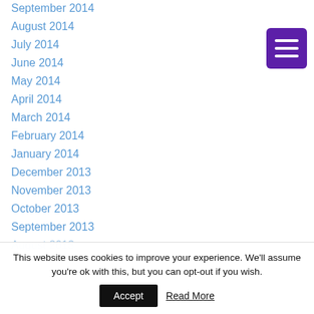September 2014
August 2014
July 2014
June 2014
May 2014
April 2014
March 2014
February 2014
January 2014
December 2013
November 2013
October 2013
September 2013
August 2013
This website uses cookies to improve your experience. We'll assume you're ok with this, but you can opt-out if you wish. Accept Read More